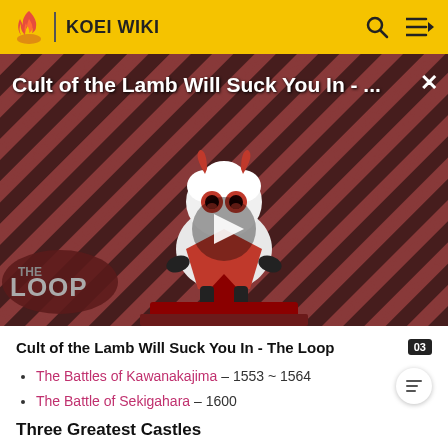KOEI WIKI
[Figure (screenshot): Video thumbnail for 'Cult of the Lamb Will Suck You In - The Loop' showing a cute lamb character with red eyes on a diagonal striped red/dark background. A play button is centered. 'THE LOOP' text badge is in the bottom left. An X close button is in the top right.]
Cult of the Lamb Will Suck You In - The Loop
The Battles of Kawanakajima - 1553 ~ 1564
The Battle of Sekigahara - 1600
Three Greatest Castles